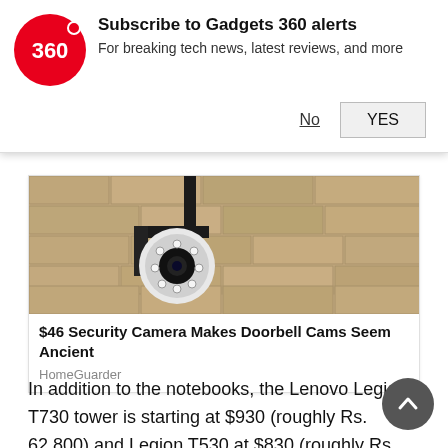[Figure (logo): Gadgets 360 logo - red circle with '360' in white text and a red dot]
Subscribe to Gadgets 360 alerts
For breaking tech news, latest reviews, and more
No   YES
[Figure (photo): Security camera mounted on a wall bracket against a stone/brick wall background]
$46 Security Camera Makes Doorbell Cams Seem Ancient
HomeGuarder
In addition to the notebooks, the Lenovo Legion T730 tower is starting at $930 (roughly Rs. 62,800) and Legion T530 at $830 (roughly Rs. 56,000). The Legion C730 comes with a starting price of $930 (roughly Rs. 62,800) and the Legion C530 is starting at $830 (roughly Rs. 56,000). All these models will go on sale in